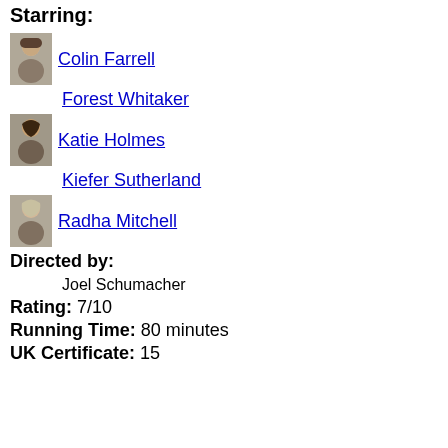Starring:
Colin Farrell
Forest Whitaker
Katie Holmes
Kiefer Sutherland
Radha Mitchell
Directed by:
Joel Schumacher
Rating: 7/10
Running Time: 80 minutes
UK Certificate: 15